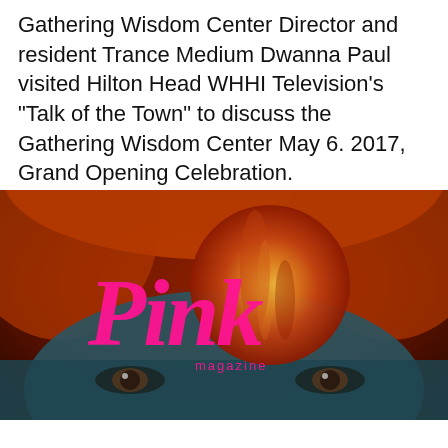Gathering Wisdom Center Director and resident Trance Medium Dwanna Paul visited Hilton Head WHHI Television's "Talk of the Town" to discuss the Gathering Wisdom Center May 6. 2017, Grand Opening Celebration.
[Figure (photo): Pink Magazine logo overlaid on a close-up image of a woman's face with a large red/orange full moon in the center background. The Pink magazine script logo appears in hot pink text with 'magazine' in smaller pink text below it. The image has deep red and dark teal tones.]